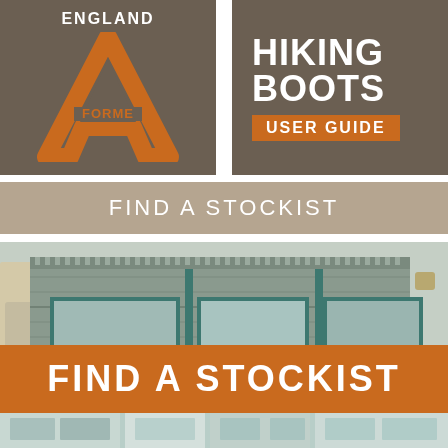[Figure (logo): England A Forme logo on brown/taupe background with orange stylized letter A]
[Figure (logo): Hiking Boots User Guide text on dark brown background with orange USER GUIDE bar]
FIND A STOCKIST
[Figure (photo): Photo of a stone-faced outdoor/hiking retail shop building with teal/green window frames]
FIND A STOCKIST
[Figure (photo): Bottom strip showing a lighter building storefront]